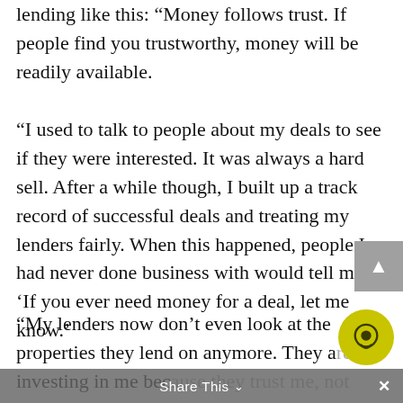lending like this: “Money follows trust. If people find you trustworthy, money will be readily available.
“I used to talk to people about my deals to see if they were interested. It was always a hard sell. After a while though, I built up a track record of successful deals and treating my lenders fairly. When this happened, people I had never done business with would tell me ‘If you ever need money for a deal, let me know.’
“My lenders now don’t even look at the properties they lend on anymore. They are investing in me because they trust me, not
Share This